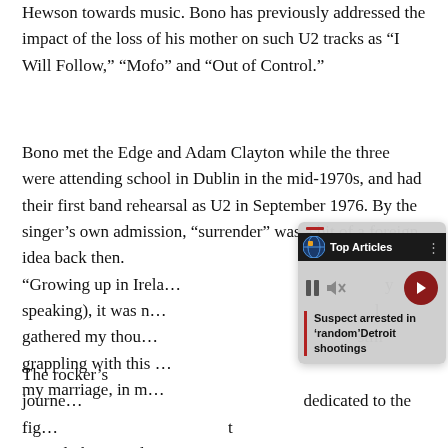Hewson towards music. Bono has previously addressed the impact of the loss of his mother on such U2 tracks as “I Will Follow,” “Mofo” and “Out of Control.”
Bono met the Edge and Adam Clayton while the three were attending school in Dublin in the mid-1970s, and had their first band rehearsal as U2 in September 1976. By the singer’s own admission, “surrender” was a bit of a foreign idea back then. “Growing up in Ireland (generally and Catholic-ly speaking), it was n... I gathered my thou... still grappling with this ... my marriage, in m...
[Figure (screenshot): A media overlay widget showing 'Top Articles' header bar with a globe icon, pause and mute controls, a right-arrow navigation button, and a news headline 'Suspect arrested in ‘random’Detroit shootings' with a red left border accent.]
The rocker’s journe... dedicated to the fig... t recently his social j... Ukraine in the country’s conflict with Russia. Accepting an invitation